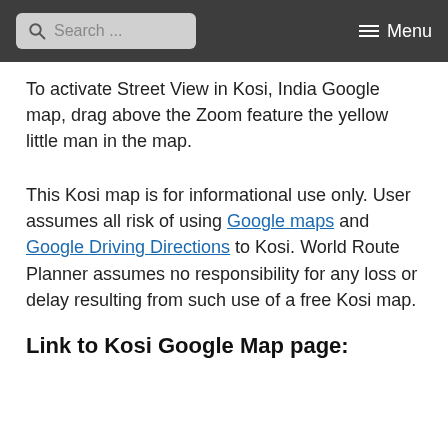Search ... Menu
To activate Street View in Kosi, India Google map, drag above the Zoom feature the yellow little man in the map.
This Kosi map is for informational use only. User assumes all risk of using Google maps and Google Driving Directions to Kosi. World Route Planner assumes no responsibility for any loss or delay resulting from such use of a free Kosi map.
Link to Kosi Google Map page: